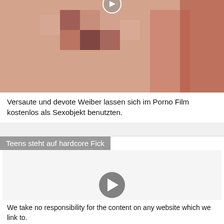[Figure (photo): Pixelated/blurred adult content image]
Versaute und devote Weiber lassen sich im Porno Film kostenlos als Sexobjekt benutzten.
Teens steht auf hardcore Fick
[Figure (screenshot): Video player with play button on gray background]
We take no responsibility for the content on any website which we link to.